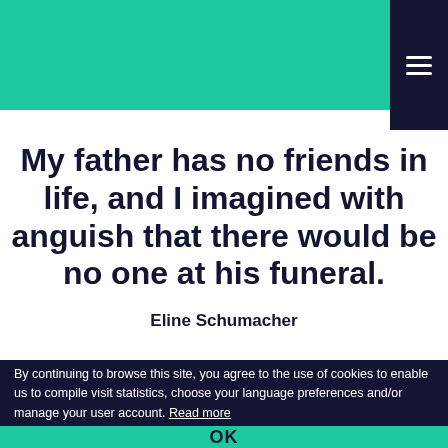[Figure (other): Teal/green header bar with dark navy hamburger menu button]
My father has no friends in life, and I imagined with anguish that there would be no one at his funeral.
Eline Schumacher
By continuing to browse this site, you agree to the use of cookies to enable us to compile visit statistics, choose your language preferences and/or manage your user account. Read more
OK